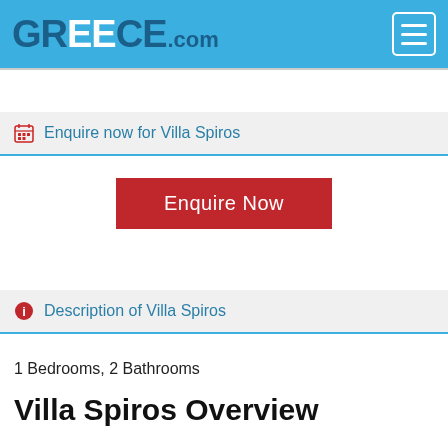GREECE.com
Enquire now for Villa Spiros
Enquire Now
Description of Villa Spiros
1 Bedrooms, 2 Bathrooms
Villa Spiros Overview